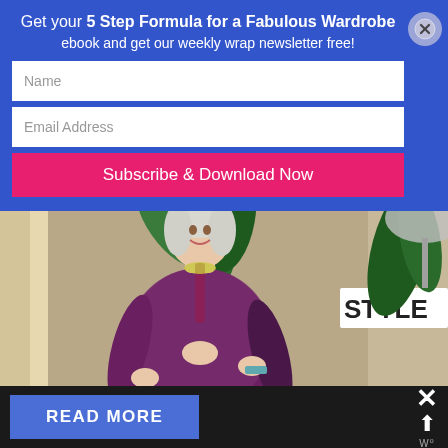Get your 5 Step Formula for a Fabulous Wardrobe ebook and get our weekly wrap newsletter free!
[Figure (screenshot): Email signup form with Name and Email Address fields, a pink Subscribe & Download Now button, and a close (X) button in the top right corner, all on a blue background]
[Figure (photo): Woman with short white/silver hair, smiling, wearing a sheer purple/burgundy blouse over a dark dress, standing in a stylishly decorated room with plants and a STYLE sign visible in the background]
READ MORE